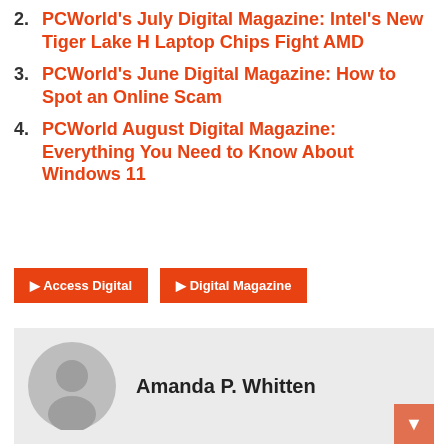2. PCWorld's July Digital Magazine: Intel's New Tiger Lake H Laptop Chips Fight AMD
3. PCWorld's June Digital Magazine: How to Spot an Online Scam
4. PCWorld August Digital Magazine: Everything You Need to Know About Windows 11
Access Digital | Digital Magazine
Amanda P. Whitten